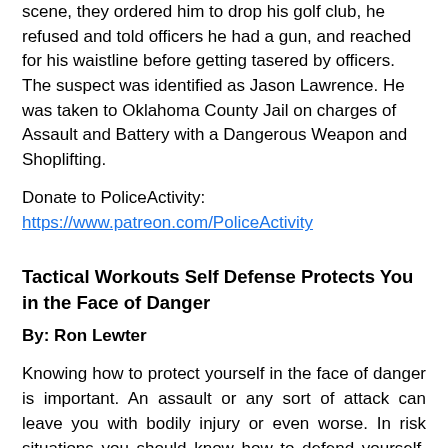scene, they ordered him to drop his golf club, he refused and told officers he had a gun, and reached for his waistline before getting tasered by officers. The suspect was identified as Jason Lawrence. He was taken to Oklahoma County Jail on charges of Assault and Battery with a Dangerous Weapon and Shoplifting.
Donate to PoliceActivity:
https://www.patreon.com/PoliceActivity
Tactical Workouts Self Defense Protects You in the Face of Danger
By: Ron Lewter
Knowing how to protect yourself in the face of danger is important. An assault or any sort of attack can leave you with bodily injury or even worse. In risk situations you should know how to defend yourself. There are various